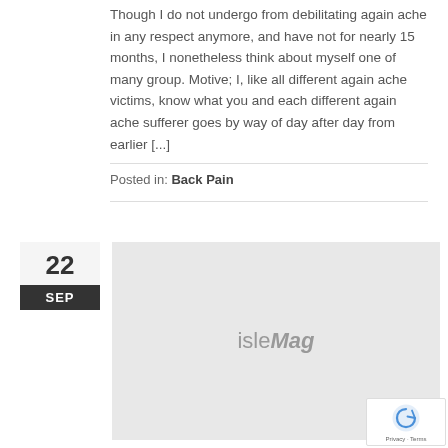Though I do not undergo from debilitating again ache in any respect anymore, and have not for nearly 15 months, I nonetheless think about myself one of many group. Motive; I, like all different again ache victims, know what you and each different again ache sufferer goes by way of day after day from earlier [...]
Posted in: Back Pain
22 SEP
[Figure (other): Gray placeholder image with 'isleMag' watermark text in the center]